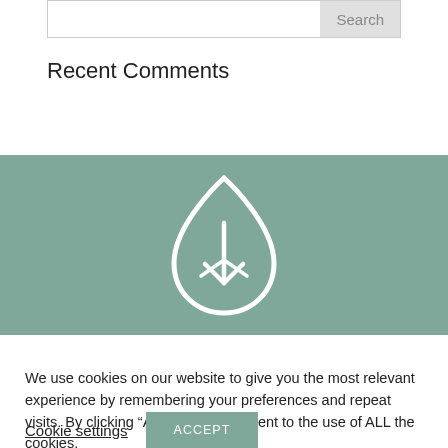Search
Recent Comments
[Figure (logo): Teal/sage green banner with a white leaf/droplet icon containing a downward arrow and small branch lines — a nature or sustainability logo]
We use cookies on our website to give you the most relevant experience by remembering your preferences and repeat visits. By clicking “Accept”, you consent to the use of ALL the cookies.
Cookie settings   ACCEPT